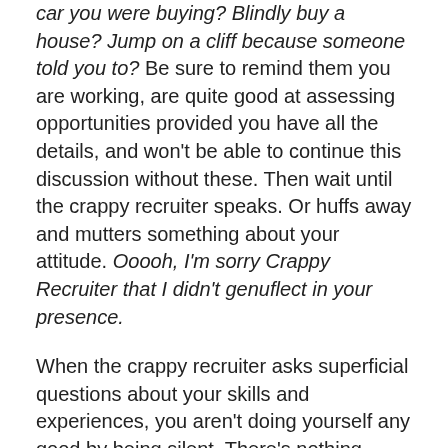car you were buying? Blindly buy a house? Jump on a cliff because someone told you to? Be sure to remind them you are working, are quite good at assessing opportunities provided you have all the details, and won't be able to continue this discussion without these. Then wait until the crappy recruiter speaks. Or huffs away and mutters something about your attitude. Ooooh, I'm sorry Crappy Recruiter that I didn't genuflect in your presence.
When the crappy recruiter asks superficial questions about your skills and experiences, you aren't doing yourself any good by being silent. There's nothing wrong about telling them they haven't asked you how you solve specific problems; be warned – they might come back at you and say that what you'll do is in the job description. Just look at them with your best golden retriever look (you know, head tilted to the side with a what-are-you-talking-about look on